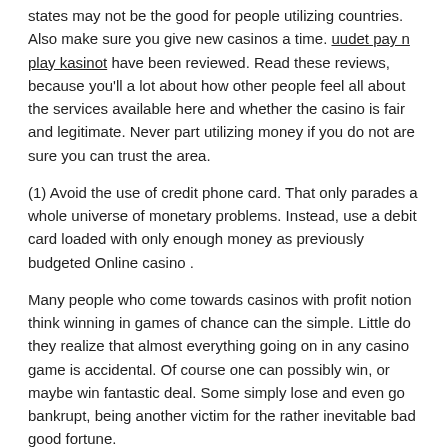states may not be the good for people utilizing countries. Also make sure you give new casinos a time. uudet pay n play kasinot have been reviewed. Read these reviews, because you'll a lot about how other people feel all about the services available here and whether the casino is fair and legitimate. Never part utilizing money if you do not are sure you can trust the area.
(1) Avoid the use of credit phone card. That only parades a whole universe of monetary problems. Instead, use a debit card loaded with only enough money as previously budgeted Online casino .
Many people who come towards casinos with profit notion think winning in games of chance can the simple. Little do they realize that almost everything going on in any casino game is accidental. Of course one can possibly win, or maybe win fantastic deal. Some simply lose and even go bankrupt, being another victim for the rather inevitable bad good fortune.